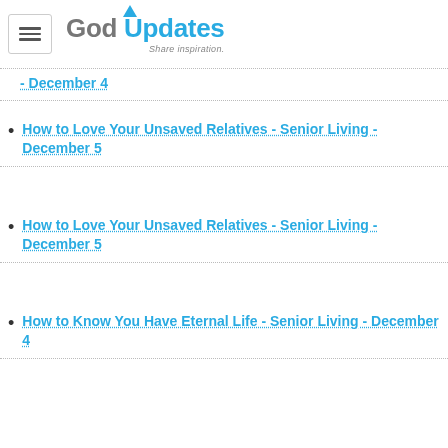GodUpdates — Share inspiration.
- December 4
How to Love Your Unsaved Relatives - Senior Living - December 5
How to Love Your Unsaved Relatives - Senior Living - December 5
How to Know You Have Eternal Life - Senior Living - December 4